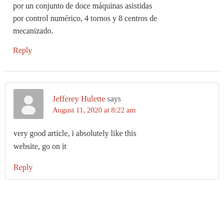por un conjunto de doce máquinas asistidas por control numérico, 4 tornos y 8 centros de mecanizado.
Reply
Jefferey Hulette says
August 11, 2020 at 8:22 am
very good article, i absolutely like this website, go on it
Reply